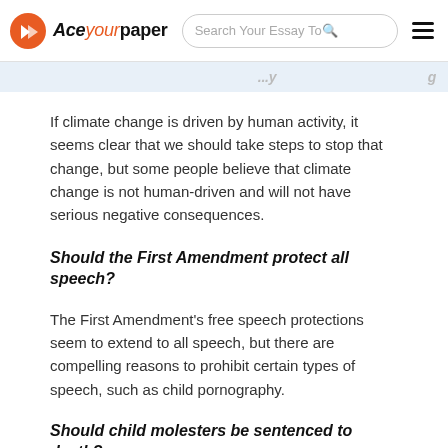Aceyourpaper | Search Your Essay Topic
If climate change is driven by human activity, it seems clear that we should take steps to stop that change, but some people believe that climate change is not human-driven and will not have serious negative consequences.
Should the First Amendment protect all speech?
The First Amendment's free speech protections seem to extend to all speech, but there are compelling reasons to prohibit certain types of speech, such as child pornography.
Should child molesters be sentenced to death?